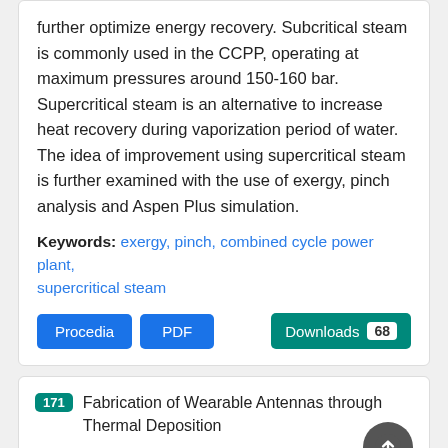further optimize energy recovery. Subcritical steam is commonly used in the CCPP, operating at maximum pressures around 150-160 bar. Supercritical steam is an alternative to increase heat recovery during vaporization period of water. The idea of improvement using supercritical steam is further examined with the use of exergy, pinch analysis and Aspen Plus simulation.
Keywords: exergy, pinch, combined cycle power plant, supercritical steam
Procedia | PDF | Downloads 68
171 Fabrication of Wearable Antennas through Thermal Deposition
Authors: Jeff Letcher, Dennis Tierney, Haider Raad